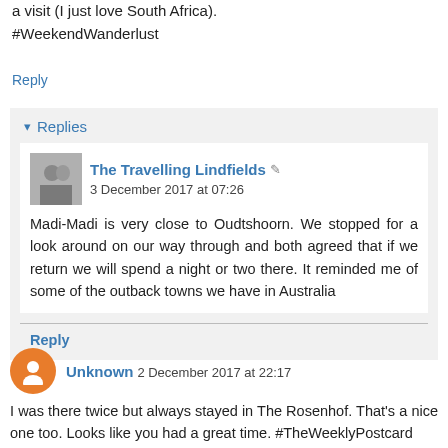a visit (I just love South Africa). #WeekendWanderlust
Reply
▾ Replies
The Travelling Lindfields ✎ 3 December 2017 at 07:26
Madi-Madi is very close to Oudtshoorn. We stopped for a look around on our way through and both agreed that if we return we will spend a night or two there. It reminded me of some of the outback towns we have in Australia
Reply
Unknown 2 December 2017 at 22:17
I was there twice but always stayed in The Rosenhof. That's a nice one too. Looks like you had a great time. #TheWeeklyPostcard